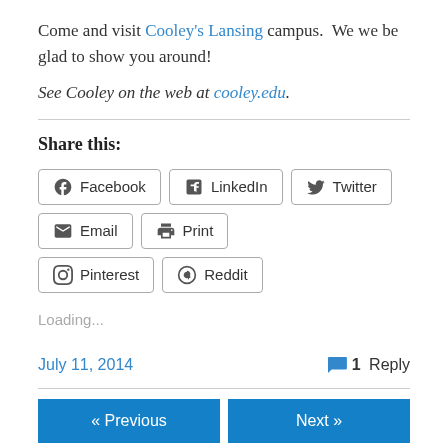Come and visit Cooley's Lansing campus.  We we be glad to show you around!
See Cooley on the web at cooley.edu.
Share this:
Facebook  LinkedIn  Twitter  Email  Print  Pinterest  Reddit
Loading...
July 11, 2014   1 Reply
« Previous   Next »